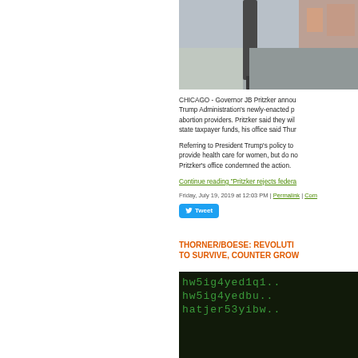[Figure (photo): Street-level photo showing a sidewalk and lamppost in front of a building]
CHICAGO - Governor JB Pritzker announced opposition to the Trump Administration's newly-enacted policy affecting abortion providers. Pritzker said they will not use state taxpayer funds, his office said Thursday.
Referring to President Trump's policy to provide health care for women, but do not provide health care for women, but do not provide... Pritzker's office condemned the action.
Continue reading "Pritzker rejects federal..."
Friday, July 19, 2019 at 12:03 PM | Permalink | Comm...
THORNER/BOESE: REVOLUTI... TO SURVIVE, COUNTER GROW...
[Figure (photo): Dark background with green matrix-style code text: hw5ig4yed1q1.. hw5ig4yedbu.. hatjer53yibw..]